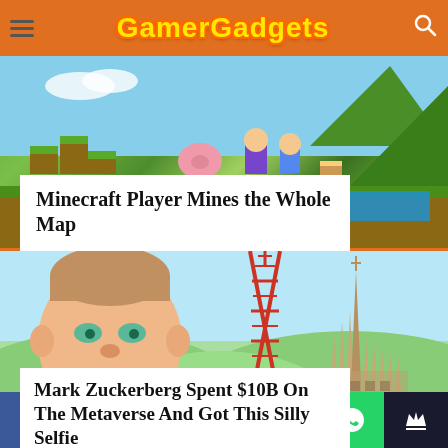GamerGadgets
[Figure (photo): Minecraft game scene with blocky terrain, animals, characters, green landscape and mountains]
Minecraft Player Mines the Whole Map
[Figure (photo): Mark Zuckerberg metaverse avatar selfie with a red tower and Sagrada Familia-like building in background]
Mark Zuckerberg Spent $10B On The Metaverse And Got This Silly Selfie
[Figure (infographic): Social sharing bar with Facebook, Twitter, Pinterest, Reddit, SMS, WhatsApp, and crown icons]